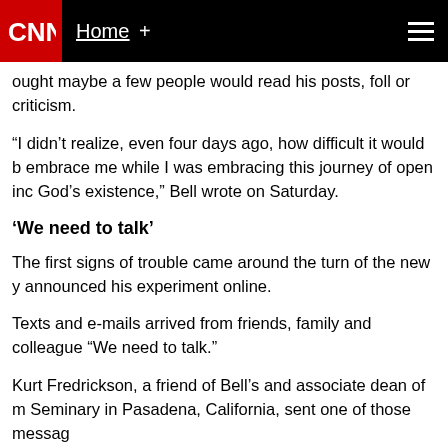CNN Home +
ought maybe a few people would read his posts, foll or criticism.
“I didn’t realize, even four days ago, how difficult it would b embrace me while I was embracing this journey of open inc God’s existence,” Bell wrote on Saturday.
‘We need to talk’
The first signs of trouble came around the turn of the new y announced his experiment online.
Texts and e-mails arrived from friends, family and colleague “We need to talk.”
Kurt Fredrickson, a friend of Bell’s and associate dean of m Seminary in Pasadena, California, sent one of those messag
Bell, a graduate of Fuller, had taught in the school’s doctora for the past year. But Fredrickson told his friend that his sab sabbatical from the seminary as well.